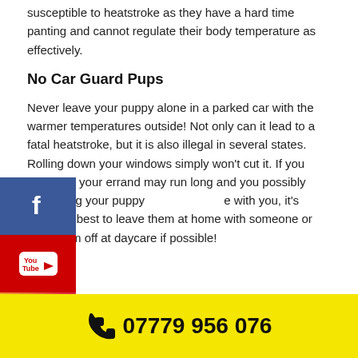susceptible to heatstroke as they have a hard time panting and cannot regulate their body temperature as effectively.
No Car Guard Pups
Never leave your puppy alone in a parked car with the warmer temperatures outside! Not only can it lead to a fatal heatstroke, but it is also illegal in several states. Rolling down your windows simply won't cut it. If you think that your errand may run long and you possibly can't bring your puppy with you, it's probably best to leave them at home with someone or drop them off at daycare if possible!
use cookies on our website to give you the most relevant experience by remembering your preferences and repeat visits. By clicking "Accept", you consent to the use of ALL the cookies.
07779 956 076